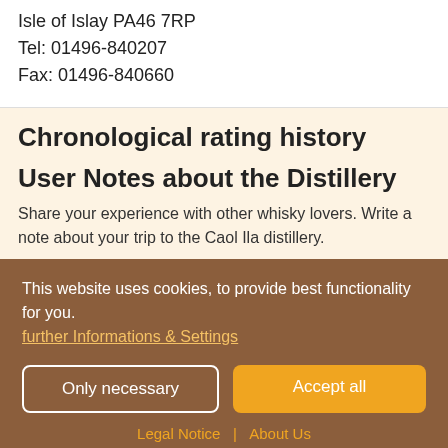Isle of Islay PA46 7RP
Tel: 01496-840207
Fax: 01496-840660
Chronological rating history
User Notes about the Distillery
Share your experience with other whisky lovers. Write a note about your trip to the Caol Ila distillery.
This website uses cookies, to provide best functionality for you.
further Informations & Settings
Only necessary
Accept all
Legal Notice | About Us